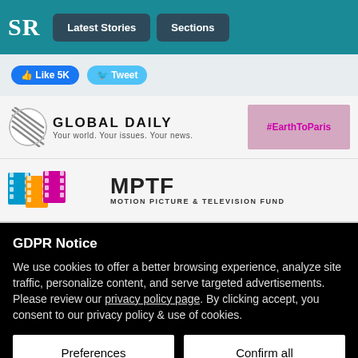SR | Latest Stories | Sections
[Figure (screenshot): Social sharing bar with Facebook Like 5K button and Twitter Tweet button]
[Figure (logo): Global Daily logo - Your world. Your issues. Your news. with #EarthToParis banner]
[Figure (logo): MPTF Motion Picture & Television Fund logo with film strip]
GDPR Notice
We use cookies to offer a better browsing experience, analyze site traffic, personalize content, and serve targeted advertisements. Please review our privacy policy page. By clicking accept, you consent to our privacy policy & use of cookies.
Preferences
Confirm all